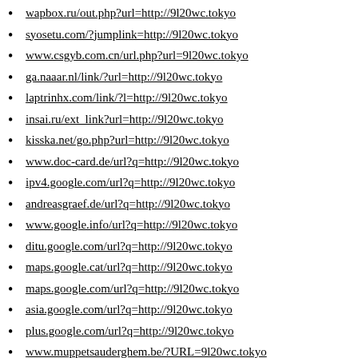wapbox.ru/out.php?url=http://9l20wc.tokyo
syosetu.com/?jumplink=http://9l20wc.tokyo
www.csgyb.com.cn/url.php?url=9l20wc.tokyo
ga.naaar.nl/link/?url=http://9l20wc.tokyo
laptrinhx.com/link/?l=http://9l20wc.tokyo
insai.ru/ext_link?url=http://9l20wc.tokyo
kisska.net/go.php?url=http://9l20wc.tokyo
www.doc-card.de/url?q=http://9l20wc.tokyo
ipv4.google.com/url?q=http://9l20wc.tokyo
andreasgraef.de/url?q=http://9l20wc.tokyo
www.google.info/url?q=http://9l20wc.tokyo
ditu.google.com/url?q=http://9l20wc.tokyo
maps.google.cat/url?q=http://9l20wc.tokyo
maps.google.com/url?q=http://9l20wc.tokyo
asia.google.com/url?q=http://9l20wc.tokyo
plus.google.com/url?q=http://9l20wc.tokyo
www.muppetsauderghem.be/?URL=9l20wc.tokyo
1001file.ru/go.php?go=http://9l20wc.tokyo
pr.toolsky.com/pr.asp?domain=9l20wc.tokyo